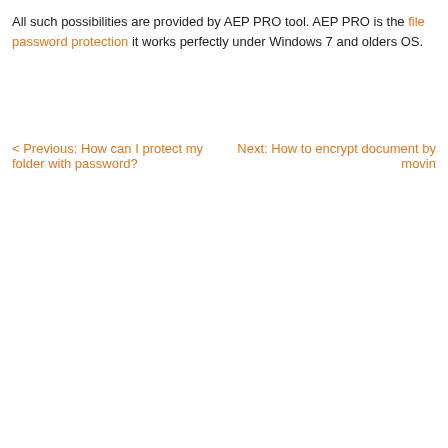All such possibilities are provided by AEP PRO tool. AEP PRO is the file password protection it works perfectly under Windows 7 and olders OS.
< Previous: How can I protect my folder with password?
Next: How to encrypt document by moving